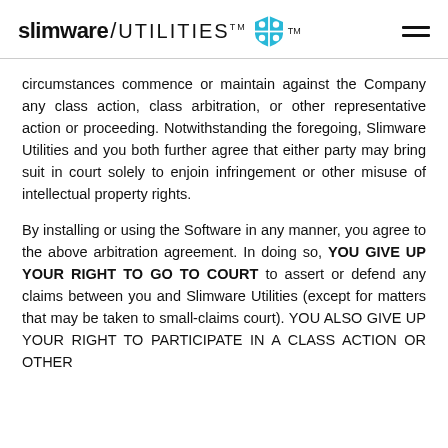slimware / UTILITIES™
circumstances commence or maintain against the Company any class action, class arbitration, or other representative action or proceeding. Notwithstanding the foregoing, Slimware Utilities and you both further agree that either party may bring suit in court solely to enjoin infringement or other misuse of intellectual property rights.
By installing or using the Software in any manner, you agree to the above arbitration agreement. In doing so, YOU GIVE UP YOUR RIGHT TO GO TO COURT to assert or defend any claims between you and Slimware Utilities (except for matters that may be taken to small-claims court). YOU ALSO GIVE UP YOUR RIGHT TO PARTICIPATE IN A CLASS ACTION OR OTHER